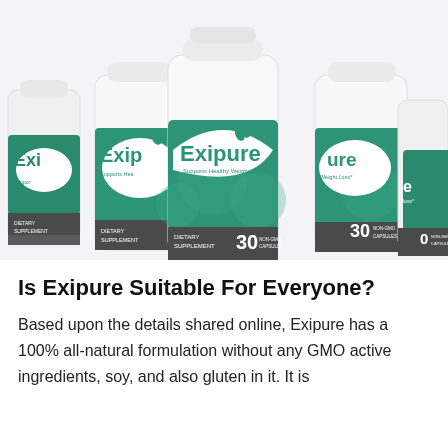[Figure (photo): Multiple white supplement bottles labeled 'Exipure – Supports Healthy Weight Loss' with green teal label design showing leaves. Labels say 'Dietary Supplement' and '30 Non-GMO Capsules'. Several bottles arranged in a cluster, center bottle in foreground.]
Is Exipure Suitable For Everyone?
Based upon the details shared online, Exipure has a 100% all-natural formulation without any GMO active ingredients, soy, and also gluten in it. It is